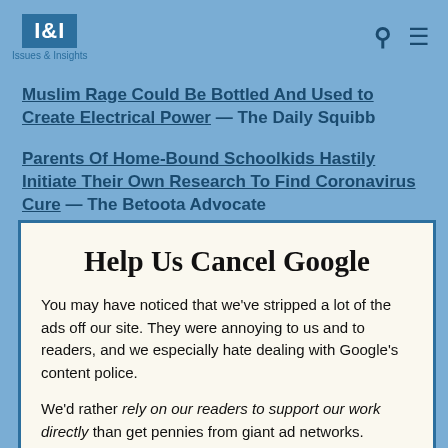I&I Issues & Insights
Muslim Rage Could Be Bottled And Used to Create Electrical Power — The Daily Squibb
Parents Of Home-Bound Schoolkids Hastily Initiate Their Own Research To Find Coronavirus Cure — The Betoota Advocate
Help Us Cancel Google
You may have noticed that we've stripped a lot of the ads off our site. They were annoying to us and to readers, and we especially hate dealing with Google's content police.
We'd rather rely on our readers to support our work directly than get pennies from giant ad networks.
We won't charge you to access our content, but you can help us keep this site going with a donation.